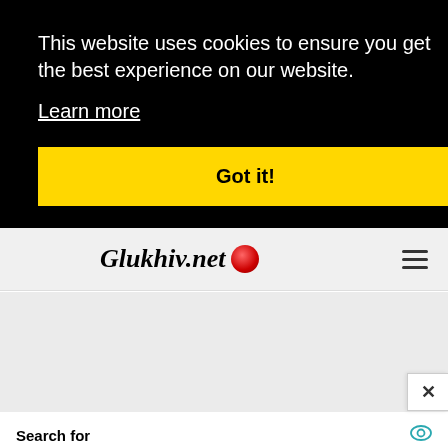This website uses cookies to ensure you get the best experience on our website.
Learn more
Got it!
Glukhiv.net
Search for
01. 10 Benefits Of Bitter Melon
02. Benefits Of Cinnamon
Yahoo! Search | Sponsored